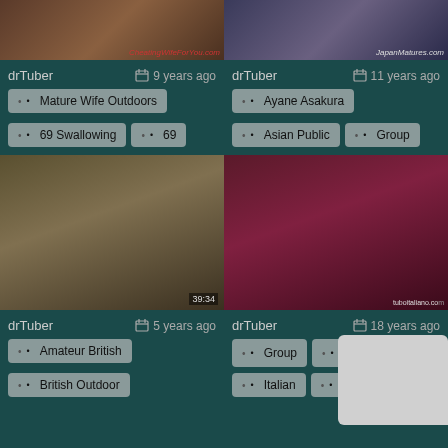[Figure (screenshot): Two video thumbnails at top of page]
drTuber  9 years ago
Mature Wife Outdoors
69 Swallowing
69
drTuber  11 years ago
Ayane Asakura
Asian Public
Group
[Figure (screenshot): Two video thumbnails in bottom half]
drTuber  5 years ago
Amateur British
British Outdoor
drTuber  18 years ago
Group
Public Sex
Italian
Amateur